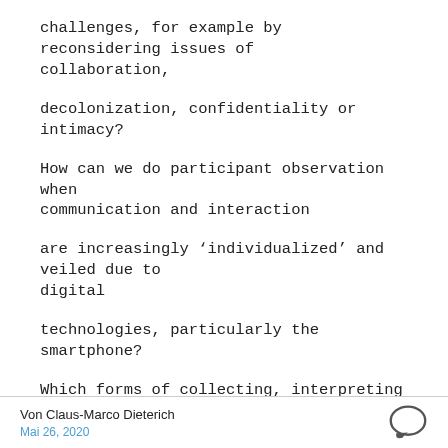challenges, for example by reconsidering issues of collaboration,
decolonization, confidentiality or intimacy?
How can we do participant observation when communication and interaction
are increasingly 'individualized' and veiled due to digital
technologies, particularly the smartphone?
Which forms of collecting, interpreting and representing empirical data
Von Claus-Marco Dieterich
Mai 26, 2020